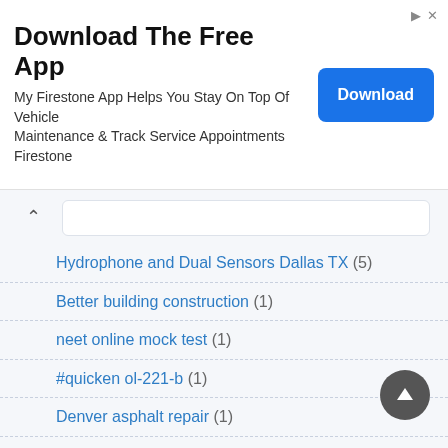[Figure (screenshot): Advertisement banner for Firestone app download with blue Download button]
Hydrophone and Dual Sensors Dallas TX (5)
Better building construction (1)
neet online mock test (1)
#quicken ol-221-b (1)
Denver asphalt repair (1)
QuickBooks 2018 Error PS032 (1)
I got this error: QBWC1085 (1)
#quickbooks error 176109 (1)
Website Development Company Houston (12)
John Dryden (1)
Earl Nightingale (1)